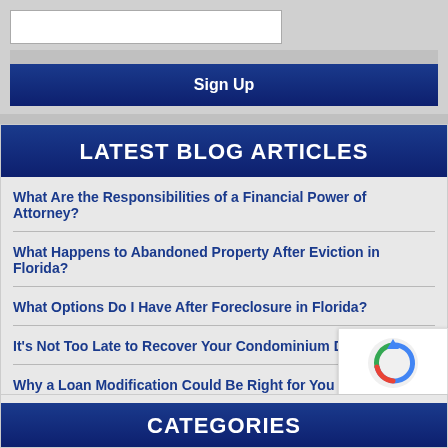[Figure (other): Email input field (white rectangle) and gray bar — newsletter signup form top section]
Sign Up
LATEST BLOG ARTICLES
What Are the Responsibilities of a Financial Power of Attorney?
What Happens to Abandoned Property After Eviction in Florida?
What Options Do I Have After Foreclosure in Florida?
It's Not Too Late to Recover Your Condominium Deposit
Why a Loan Modification Could Be Right for You
CATEGORIES